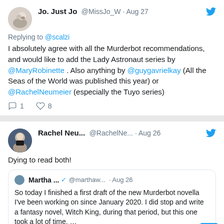Jo. Just Jo @MissJo_W · Aug 27
Replying to @scalzi
I absolutely agree with all the Murderbot recommendations, and would like to add the Lady Astronaut series by @MaryRobinette . Also anything by @guygavrielkay (All the Seas of the World was published this year) or @RachelNeumeier (especially the Tuyo series)
1 reply, 8 likes
Rachel Neu... @RachelNe... · Aug 26
Dying to read both!
Quoted tweet from Martha ... @marthaw... · Aug 26: So today I finished a first draft of the new Murderbot novella I've been working on since January 2020. I did stop and write a fantasy novel, Witch King, during that period, but this one took a lot of time. ...